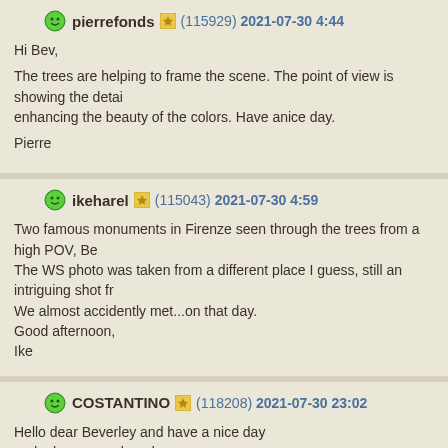pierrefonds (115929) 2021-07-30 4:44
Hi Bev,
The trees are helping to frame the scene. The point of view is showing the detail enhancing the beauty of the colors. Have anice day.
Pierre
ikeharel (115043) 2021-07-30 4:59
Two famous monuments in Firenze seen through the trees from a high POV, Be... The WS photo was taken from a different place I guess, still an intriguing shot fr... We almost accidently met...on that day.
Good afternoon,
Ike
COSTANTINO (118208) 2021-07-30 23:02
Hello dear Beverley and have a nice day
and a happy week end
simple postcard from florence
giving to all of us an idea
of this beautiful city...